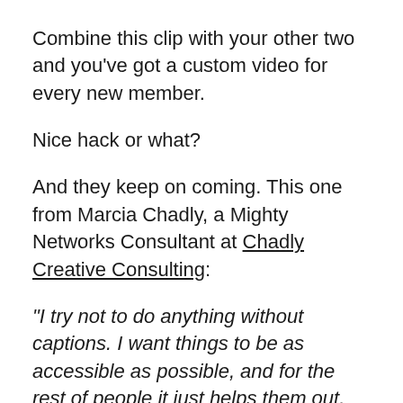Combine this clip with your other two and you've got a custom video for every new member.
Nice hack or what?
And they keep on coming. This one from Marcia Chadly, a Mighty Networks Consultant at Chadly Creative Consulting:
“I try not to do anything without captions. I want things to be as accessible as possible, and for the rest of people it just helps them out. 50+% of people on my YouTube channel watch my videos with captions on.”